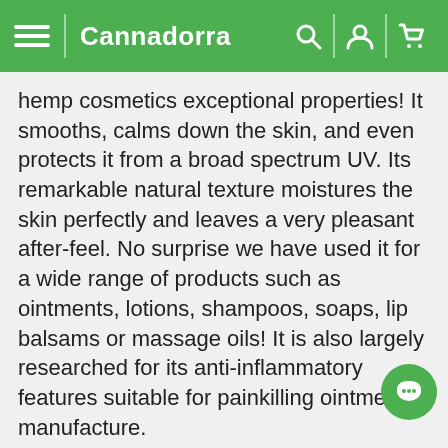Cannadorra
hemp cosmetics exceptional properties! It smooths, calms down the skin, and even protects it from a broad spectrum UV. Its remarkable natural texture moistures the skin perfectly and leaves a very pleasant after-feel. No surprise we have used it for a wide range of products such as ointments, lotions, shampoos, soaps, lip balsams or massage oils! It is also largely researched for its anti-inflammatory features suitable for painkilling ointment manufacture.
Discover our complete offer of hemp cosmetics and ointments! The possibilities of